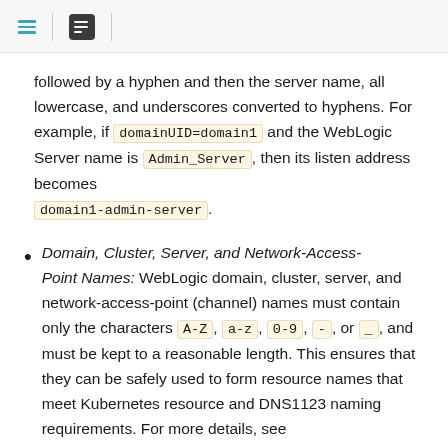[menu icon] | [list icon]
followed by a hyphen and then the server name, all lowercase, and underscores converted to hyphens. For example, if domainUID=domain1 and the WebLogic Server name is Admin_Server, then its listen address becomes domain1-admin-server.
Domain, Cluster, Server, and Network-Access-Point Names: WebLogic domain, cluster, server, and network-access-point (channel) names must contain only the characters A-Z, a-z, 0-9, -, or _, and must be kept to a reasonable length. This ensures that they can be safely used to form resource names that meet Kubernetes resource and DNS1123 naming requirements. For more details, see